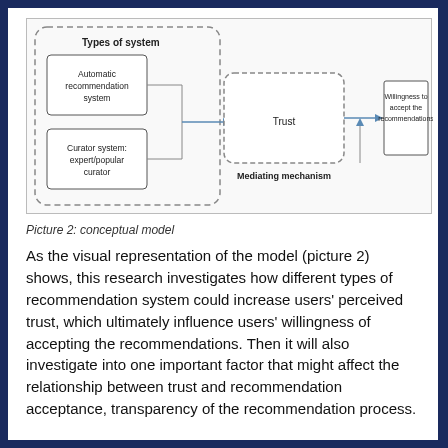[Figure (flowchart): Conceptual model diagram showing: Types of system (outer dashed rounded box) containing two inner boxes: 'Automatic recommendation system' and 'Curator system: expert/popular curator'. An arrow leads to a dashed rounded box containing 'Trust' with label 'Mediating mechanism'. An arrow leads from Trust to a solid box 'Willingness to accept the recommendations'. A vertical line from bottom connects to the Trust-to-outcome arrow.]
Picture 2: conceptual model
As the visual representation of the model (picture 2) shows, this research investigates how different types of recommendation system could increase users' perceived trust, which ultimately influence users' willingness of accepting the recommendations. Then it will also investigate into one important factor that might affect the relationship between trust and recommendation acceptance, transparency of the recommendation process.